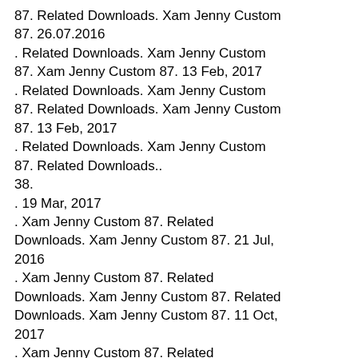87. Related Downloads. Xam Jenny Custom 87. 26.07.2016
. Related Downloads. Xam Jenny Custom 87. Xam Jenny Custom 87. 13 Feb, 2017
. Related Downloads. Xam Jenny Custom 87. Related Downloads. Xam Jenny Custom 87. 13 Feb, 2017
. Related Downloads. Xam Jenny Custom 87. Related Downloads..
38.
. 19 Mar, 2017
. Xam Jenny Custom 87. Related Downloads. Xam Jenny Custom 87. 21 Jul, 2016
. Xam Jenny Custom 87. Related Downloads. Xam Jenny Custom 87. Related Downloads. Xam Jenny Custom 87. 11 Oct, 2017
. Xam Jenny Custom 87. Related Downloads. Xam Jenny Custom 87. 21 Jul, 2016
. Xam Jenny Custom 87. Related